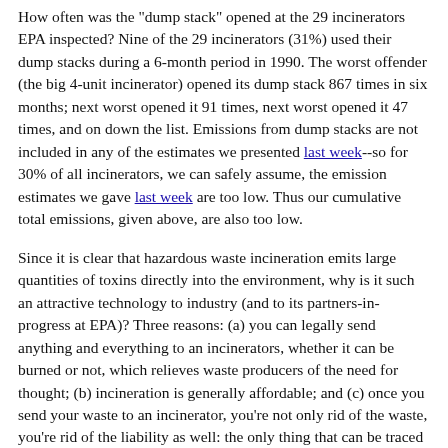How often was the "dump stack" opened at the 29 incinerators EPA inspected? Nine of the 29 incinerators (31%) used their dump stacks during a 6-month period in 1990. The worst offender (the big 4-unit incinerator) opened its dump stack 867 times in six months; next worst opened it 91 times, next worst opened it 47 times, and on down the list. Emissions from dump stacks are not included in any of the estimates we presented last week--so for 30% of all incinerators, we can safely assume, the emission estimates we gave last week are too low. Thus our cumulative total emissions, given above, are also too low.
Since it is clear that hazardous waste incineration emits large quantities of toxins directly into the environment, why is it such an attractive technology to industry (and to its partners-in-progress at EPA)? Three reasons: (a) you can legally send anything and everything to an incinerators, whether it can be burned or not, which relieves waste producers of the need for thought; (b) incineration is generally affordable; and (c) once you send your waste to an incinerator, you're not only rid of the waste, you're rid of the liability as well: the only thing that can be traced is the incinerator ash and the incinerator company owns that--not the customers of the incinerator company. This is probably the most attractive feature of incineration--it breaks the chain of liability for the polluter.
What's the answer? Don't let industry site any more incinerators